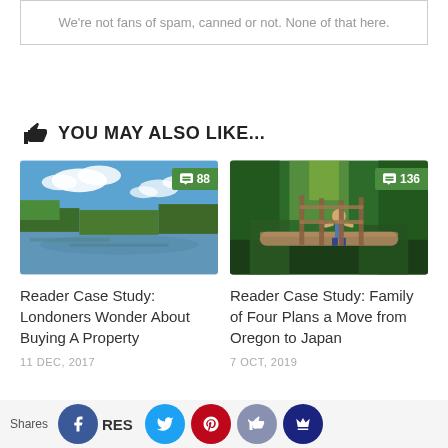We're not fans of spam, canned or not. None of that here.
YOU MAY ALSO LIKE...
[Figure (photo): River landscape with trees and blue sky with clouds, comment badge showing 88]
Reader Case Study: Londoners Wonder About Buying A Property
11 DEC, 2017
[Figure (photo): Child standing on a log in a lush green forest, comment badge showing 136]
Reader Case Study: Family of Four Plans a Move from Oregon to Japan
7 OCT, 2019
Shares  RESOURCES